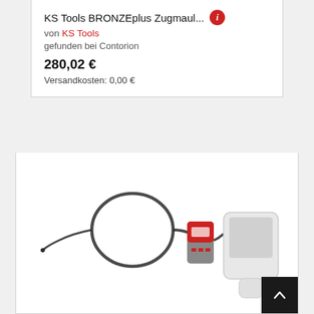KS Tools BRONZEplus Zugmaul... von KS Tools gefunden bei Contorion 280,02 € Versandkosten: 0,00 €
[Figure (photo): Product photo of a KS Tools borescope/inspection camera set with a flexible probe cable coiled up, a red and grey control unit, and a white handheld display device with a screen.]